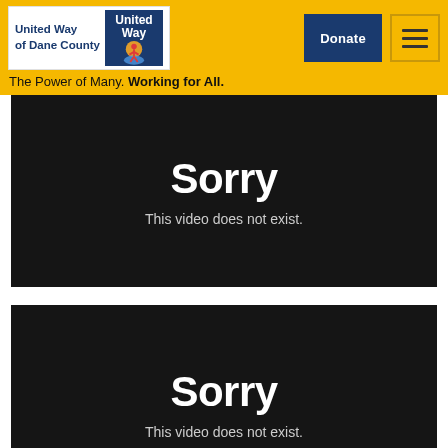[Figure (screenshot): United Way of Dane County website header with logo, United Way badge logo, Donate button, and hamburger menu button on a yellow background]
The Power of Many. Working for All.
[Figure (screenshot): Black video player error screen showing 'Sorry' in large white text and 'This video does not exist.' below it]
[Figure (screenshot): Black video player error screen showing 'Sorry' in large white text and 'This video does not exist.' below it]